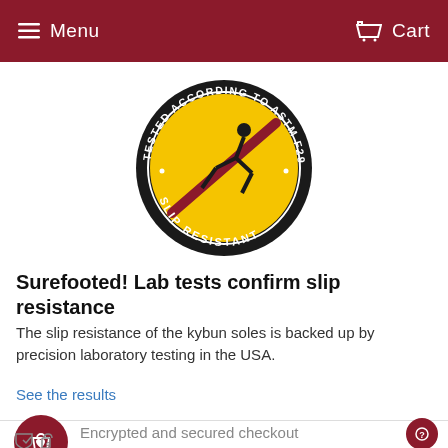Menu  Cart
[Figure (logo): Round badge with yellow background showing a slip hazard figure, text reading 'TESTED ACCORDING TO ASTM F2913-19' around the top and 'SLIP RESISTANT' at the bottom, with a diagonal line through the slip figure.]
Surefooted! Lab tests confirm slip resistance
The slip resistance of the kybun soles is backed up by precision laboratory testing in the USA.
See the results
[Figure (illustration): Red circle icon with shopping bag and heart icon above a shield with checkmark and lock icon.]
Encrypted and secured checkout